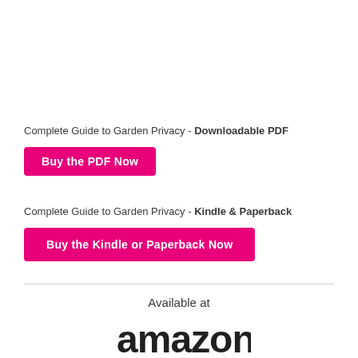Complete Guide to Garden Privacy - Downloadable PDF
Buy the PDF Now
Complete Guide to Garden Privacy - Kindle & Paperback
Buy the Kindle or Paperback Now
[Figure (logo): Amazon logo with 'Available at amazon' text and orange smile arrow]
The Middlesized Garden is a participant in the Amazon